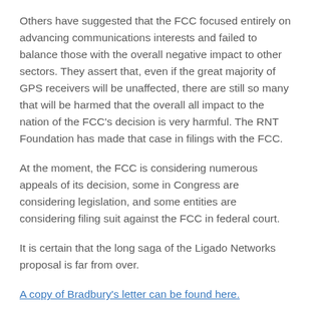Others have suggested that the FCC focused entirely on advancing communications interests and failed to balance those with the overall negative impact to other sectors. They assert that, even if the great majority of GPS receivers will be unaffected, there are still so many that will be harmed that the overall all impact to the nation of the FCC's decision is very harmful. The RNT Foundation has made that case in filings with the FCC.
At the moment, the FCC is considering numerous appeals of its decision, some in Congress are considering legislation, and some entities are considering filing suit against the FCC in federal court.
It is certain that the long saga of the Ligado Networks proposal is far from over.
A copy of Bradbury's letter can be found here.